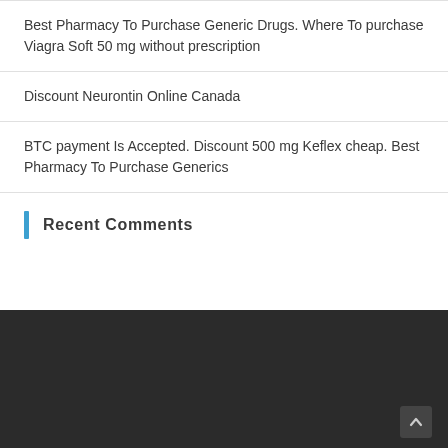Best Pharmacy To Purchase Generic Drugs. Where To purchase Viagra Soft 50 mg without prescription
Discount Neurontin Online Canada
BTC payment Is Accepted. Discount 500 mg Keflex cheap. Best Pharmacy To Purchase Generics
Recent Comments